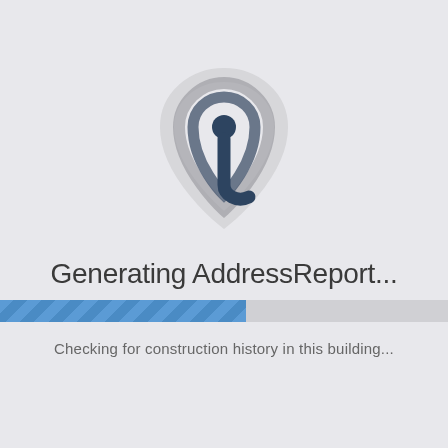[Figure (logo): Circular radar/signal icon with a pin-drop shape, rendered in dark slate blue and light grey arcs, representing an address/location report service logo.]
Generating AddressReport...
[Figure (infographic): A horizontal progress bar approximately 55% filled with a diagonal stripe pattern in blue tones, on a light grey background.]
Checking for construction history in this building...